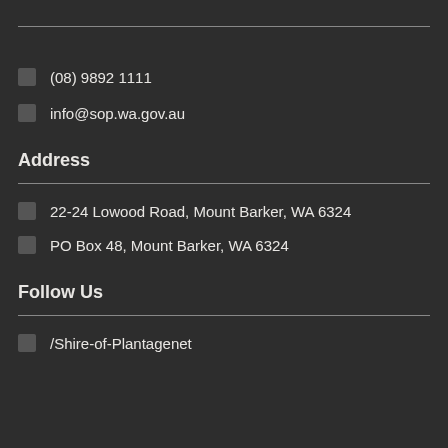(08) 9892 1111
info@sop.wa.gov.au
Address
22-24 Lowood Road, Mount Barker, WA 6324
PO Box 48, Mount Barker, WA 6324
Follow Us
/Shire-of-Plantagenet